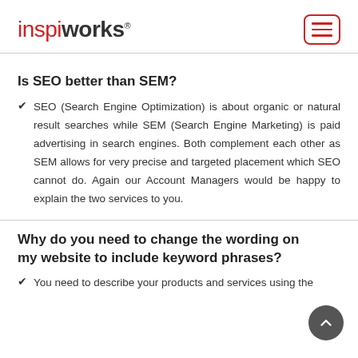inspiworks®
Is SEO better than SEM?
SEO (Search Engine Optimization) is about organic or natural result searches while SEM (Search Engine Marketing) is paid advertising in search engines. Both complement each other as SEM allows for very precise and targeted placement which SEO cannot do. Again our Account Managers would be happy to explain the two services to you.
Why do you need to change the wording on my website to include keyword phrases?
You need to describe your products and services using the